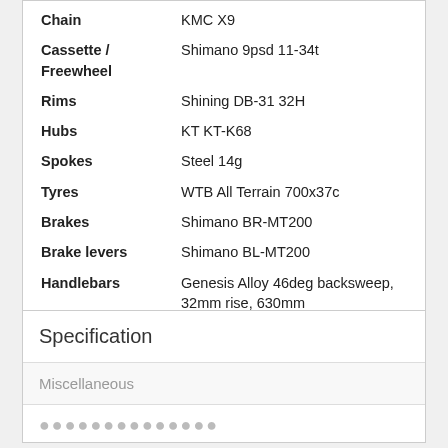| Attribute | Value |
| --- | --- |
| Chain | KMC X9 |
| Cassette / Freewheel | Shimano 9psd 11-34t |
| Rims | Shining DB-31 32H |
| Hubs | KT KT-K68 |
| Spokes | Steel 14g |
| Tyres | WTB All Terrain 700x37c |
| Brakes | Shimano BR-MT200 |
| Brake levers | Shimano BL-MT200 |
| Handlebars | Genesis Alloy 46deg backsweep, 32mm rise, 630mm |
| Stem | Genesis Alloy -7 deg, 90mm |
| Saddle | Genesis |
| Seatpost | Genesis Alloy 27.5mmx350mm |
Specification
Miscellaneous